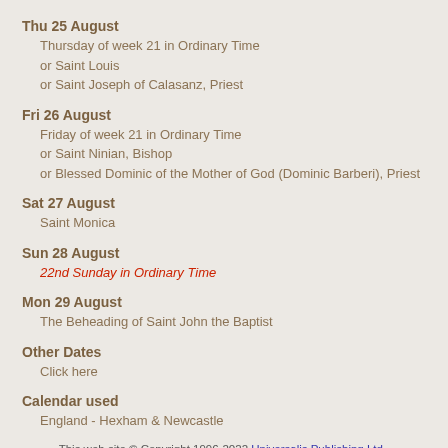Thu 25 August
Thursday of week 21 in Ordinary Time
or Saint Louis
or Saint Joseph of Calasanz, Priest
Fri 26 August
Friday of week 21 in Ordinary Time
or Saint Ninian, Bishop
or Blessed Dominic of the Mother of God (Dominic Barberi), Priest
Sat 27 August
Saint Monica
Sun 28 August
22nd Sunday in Ordinary Time
Mon 29 August
The Beheading of Saint John the Baptist
Other Dates
Click here
Calendar used
England - Hexham & Newcastle
This web site © Copyright 1996-2022 Universalis Publishing Ltd ·